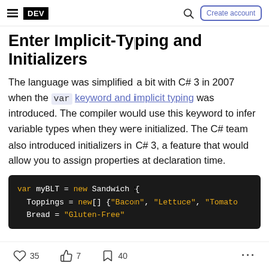DEV | Create account
Enter Implicit-Typing and Initializers
The language was simplified a bit with C# 3 in 2007 when the var keyword and implicit typing was introduced. The compiler would use this keyword to infer variable types when they were initialized. The C# team also introduced initializers in C# 3, a feature that would allow you to assign properties at declaration time.
[Figure (screenshot): Code block showing: var myBLT = new Sandwich { Toppings = new[] {"Bacon", "Lettuce", "Tomato  Bread = "Gluten-Free"]
35  7  40  ...